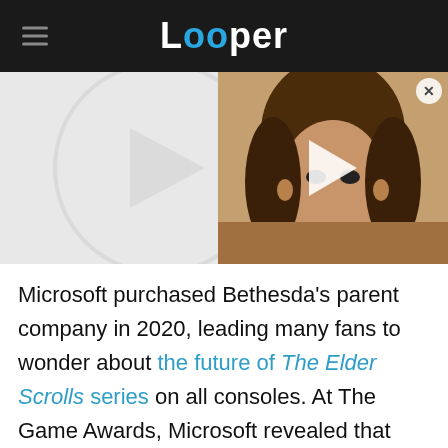Looper
[Figure (screenshot): Video thumbnail showing a person with long curly dark hair, with a play button overlay. A large translucent circle is visible in the background on the left side.]
Microsoft purchased Bethesda's parent company in 2020, leading many fans to wonder about the future of The Elder Scrolls series on all consoles. At The Game Awards, Microsoft revealed that Skyrim would be the next game to join Xbox Game Pass, its subscription service. This means fans can take advantage of the new Xbox Series X's 4K and 60 FPS